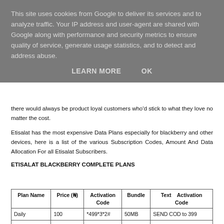This site uses cookies from Google to deliver its services and to analyze traffic. Your IP address and user-agent are shared with Google along with performance and security metrics to ensure quality of service, generate usage statistics, and to detect and address abuse.
LEARN MORE    OK
there would always be product loyal customers who'd stick to what they love no matter the cost.
Etisalat has the most expensive Data Plans especially for blackberry and other devices, here is a list of the various Subscription Codes, Amount And Data Allocation For all Etisalat Subscribers.
ETISALAT BLACKBERRY COMPLETE PLANS
| Plan Name | Price (₦) | Activation Code | Bundle | Text Activation Code |
| --- | --- | --- | --- | --- |
| Daily | 100 | *499*3*2# | 50MB | SEND COD to 399 |
| Weekly | 500 | *499*3*1# | 500MB | Send COW TO 399 |